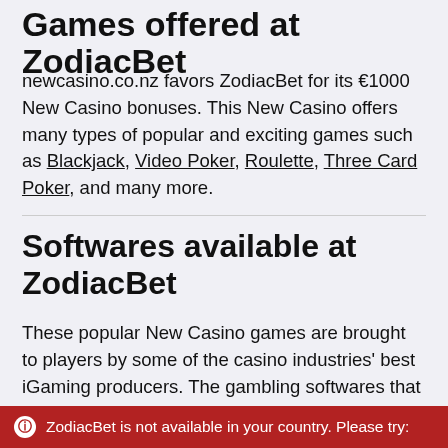Games offered at ZodiacBet
newcasino.co.nz favors ZodiacBet for its €1000 New Casino bonuses. This New Casino offers many types of popular and exciting games such as Blackjack, Video Poker, Roulette, Three Card Poker, and many more.
Softwares available at ZodiacBet
These popular New Casino games are brought to players by some of the casino industries' best iGaming producers. The gambling softwares that support the casino's games include names such as , to name a few.
ZodiacBet is not available in your country. Please try: